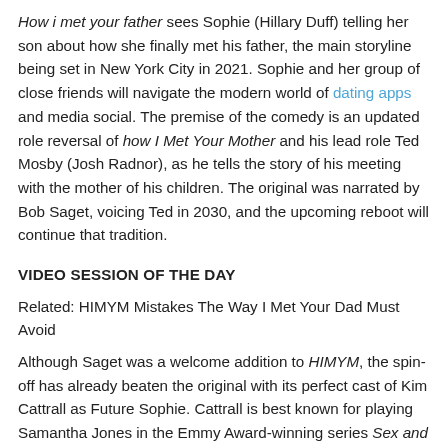How i met your father sees Sophie (Hillary Duff) telling her son about how she finally met his father, the main storyline being set in New York City in 2021. Sophie and her group of close friends will navigate the modern world of dating apps and media social. The premise of the comedy is an updated role reversal of how I Met Your Mother and his lead role Ted Mosby (Josh Radnor), as he tells the story of his meeting with the mother of his children. The original was narrated by Bob Saget, voicing Ted in 2030, and the upcoming reboot will continue that tradition.
VIDEO SESSION OF THE DAY
Related: HIMYM Mistakes The Way I Met Your Dad Must Avoid
Although Saget was a welcome addition to HIMYM, the spin-off has already beaten the original with its perfect cast of Kim Cattrall as Future Sophie. Cattrall is best known for playing Samantha Jones in the Emmy Award-winning series Sex and the city, another show